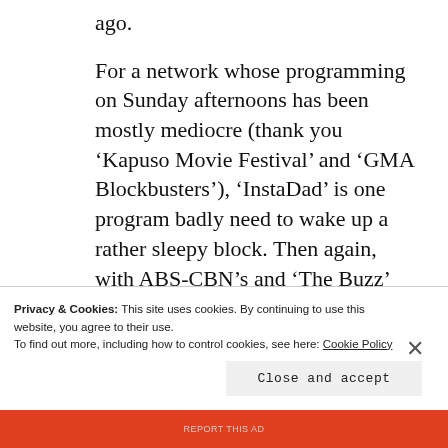ago.
For a network whose programming on Sunday afternoons has been mostly mediocre (thank you ‘Kapuso Movie Festival’ and ‘GMA Blockbusters’), ‘InstaDad’ is one program badly need to wake up a rather sleepy block. Then again, with ABS-CBN’s and ‘The Buzz’ getting in the way, it remains to be seen if the viewers finally woke up to GMA’s...
Privacy & Cookies: This site uses cookies. By continuing to use this website, you agree to their use.
To find out more, including how to control cookies, see here: Cookie Policy